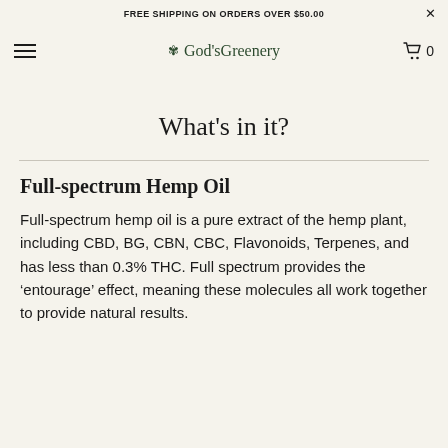FREE SHIPPING ON ORDERS OVER $50.00
God's Greenery
What's in it?
Full-spectrum Hemp Oil
Full-spectrum hemp oil is a pure extract of the hemp plant, including CBD, BG, CBN, CBC, Flavonoids, Terpenes, and has less than 0.3% THC. Full spectrum provides the ‘entourage’ effect, meaning these molecules all work together to provide natural results.